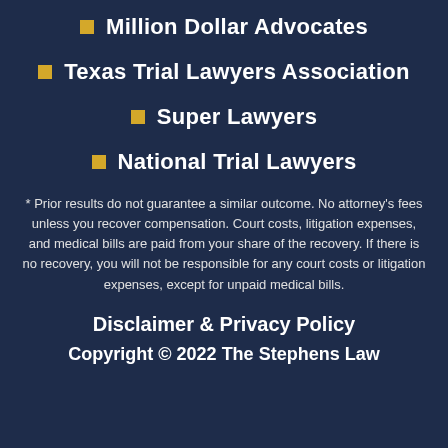Million Dollar Advocates
Texas Trial Lawyers Association
Super Lawyers
National Trial Lawyers
* Prior results do not guarantee a similar outcome. No attorney's fees unless you recover compensation. Court costs, litigation expenses, and medical bills are paid from your share of the recovery. If there is no recovery, you will not be responsible for any court costs or litigation expenses, except for unpaid medical bills.
Disclaimer & Privacy Policy
Copyright © 2022 The Stephens Law